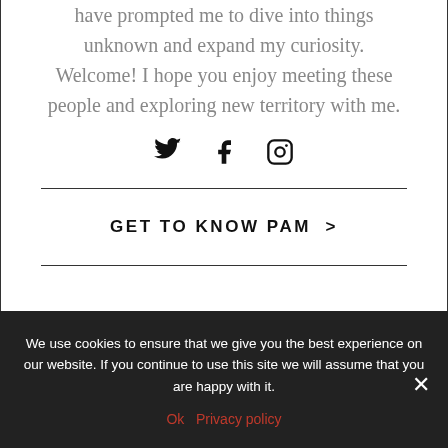have prompted me to dive into things unknown and expand my curiosity. Welcome! I hope you enjoy meeting these people and exploring new territory with me.
[Figure (illustration): Three social media icons: Twitter bird, Facebook f, and Instagram camera]
GET TO KNOW PAM >
We use cookies to ensure that we give you the best experience on our website. If you continue to use this site we will assume that you are happy with it.
Ok   Privacy policy